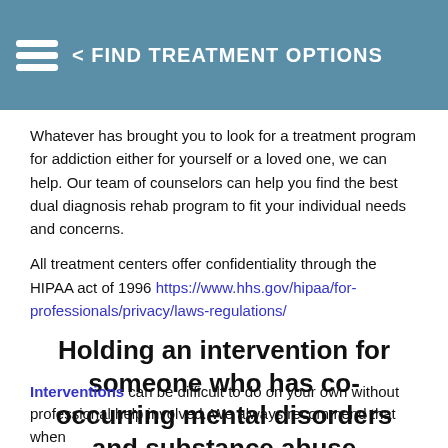< FIND TREATMENT OPTIONS
Whatever has brought you to look for a treatment program for addiction either for yourself or a loved one, we can help. Our team of counselors can help you find the best dual diagnosis rehab program to fit your individual needs and concerns.
All treatment centers offer confidentiality through the HIPAA act of 1996 https://www.hhs.gov/hipaa/for-professionals/privacy/laws-regulations/
Holding an intervention for someone who has co-occurring mental disorders and substance abuse problems
Interventions can be difficult to do on your own without professional help involved. We always recommend that when...